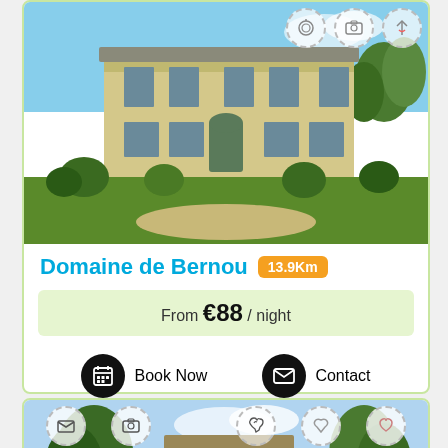[Figure (photo): Domaine de Bernou property card showing a large French country house with yellow facade, green lawn, blue sky. Icons at top right. Title 'Domaine de Bernou' with distance badge '13.9Km'. Price 'From €88 / night'. Book Now and Contact buttons.]
Domaine de Bernou 13.9Km
From €88 / night
Book Now
Contact
[Figure (photo): Second property listing card showing a stone French farmhouse with trees, partial view. Icons row at top including mail, camera, phone, location pin, heart.]